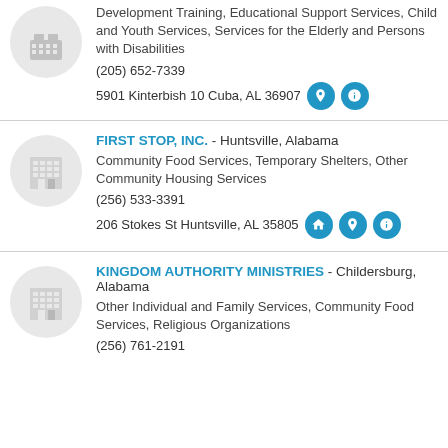Development Training, Educational Support Services, Child and Youth Services, Services for the Elderly and Persons with Disabilities
(205) 652-7339
5901 Kinterbish 10 Cuba, AL 36907
FIRST STOP, INC. - Huntsville, Alabama
Community Food Services, Temporary Shelters, Other Community Housing Services
(256) 533-3391
206 Stokes St Huntsville, AL 35805
KINGDOM AUTHORITY MINISTRIES - Childersburg, Alabama
Other Individual and Family Services, Community Food Services, Religious Organizations
(256) 761-2191